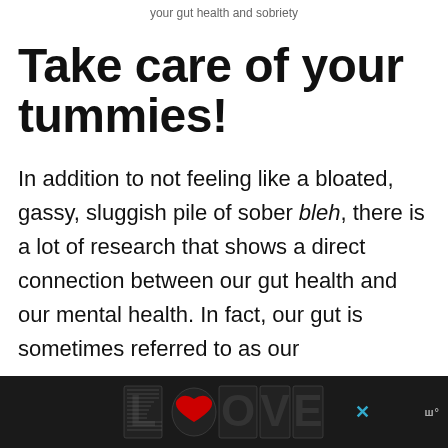your gut health and sobriety
Take care of your tummies!
In addition to not feeling like a bloated, gassy, sluggish pile of sober bleh, there is a lot of research that shows a direct connection between our gut health and our mental health. In fact, our gut is sometimes referred to as our
[Figure (other): Advertisement banner at the bottom of the page showing 'LOOVE' logo in decorative style with an X close button and a small logo on the right, on a dark background]